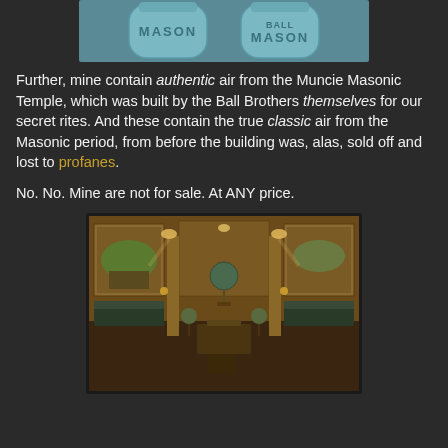[Figure (photo): Two blue Mason jars, partially cropped at top of page]
Further, mine contain authentic air from the Muncie Masonic Temple, which was built by the Ball Brothers themselves for our secret rites. And these contain the true classic air from the Masonic period, from before the building was, alas, sold off and lost to profanes.
No. No. Mine are not for sale. At ANY price.
[Figure (photo): Interior of a Masonic temple hall with murals on walls, wooden pillars, chandeliers, seating along the sides, and a ceremonial floor space]